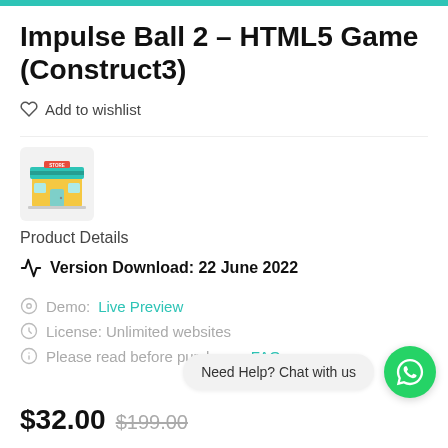Impulse Ball 2 – HTML5 Game (Construct3)
Add to wishlist
[Figure (illustration): Store front icon with a teal awning and display window on a light gray background]
Product Details
Version Download: 22 June 2022
Demo: Live Preview
License: Unlimited websites
Please read before purchase: FAQ
Need Help? Chat with us
$32.00 $199.00